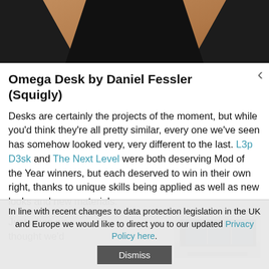[Figure (photo): Cropped photo of a desk with a dark triangular/A-frame structure visible against a wooden background]
Omega Desk by Daniel Fessler (Squigly)
Desks are certainly the projects of the moment, but while you'd think they're all pretty similar, every one we've seen has somehow looked very, very different to the last. L3p D3sk and The Next Level were both deserving Mod of the Year winners, but each deserved to win in their own right, thanks to unique skills being applied as well as new looks and new materials.
Just when we thought we'd
[Figure (photo): Small inline image of a triple monitor setup on a desk]
In line with recent changes to data protection legislation in the UK and Europe we would like to direct you to our updated Privacy Policy here.
Dismiss